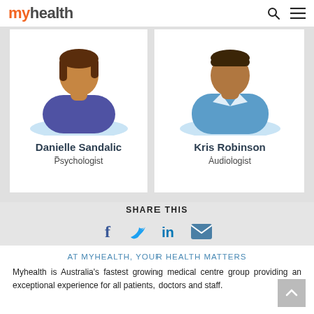myhealth
[Figure (illustration): Danielle Sandalic - Psychologist avatar card with purple avatar illustration]
Danielle Sandalic
Psychologist
[Figure (illustration): Kris Robinson - Audiologist avatar card with blue avatar illustration]
Kris Robinson
Audiologist
SHARE THIS
[Figure (infographic): Social share icons: Facebook, Twitter, LinkedIn, Email]
AT MYHEALTH, YOUR HEALTH MATTERS
Myhealth is Australia's fastest growing medical centre group providing an exceptional experience for all patients, doctors and staff.